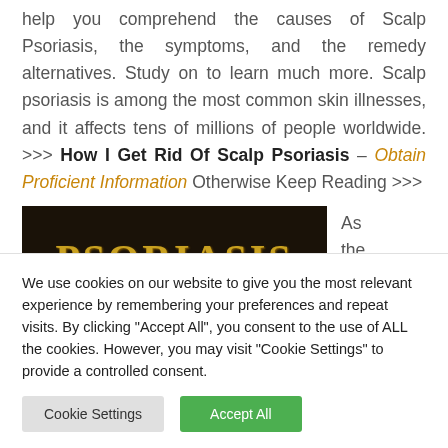help you comprehend the causes of Scalp Psoriasis, the symptoms, and the remedy alternatives. Study on to learn much more. Scalp psoriasis is among the most common skin illnesses, and it affects tens of millions of people worldwide. >>> How I Get Rid Of Scalp Psoriasis – Obtain Proficient Information Otherwise Keep Reading >>>
[Figure (photo): Dark banner image with golden/yellow text reading PSORIASIS in a serif font on a black/dark brown background]
As the term
We use cookies on our website to give you the most relevant experience by remembering your preferences and repeat visits. By clicking "Accept All", you consent to the use of ALL the cookies. However, you may visit "Cookie Settings" to provide a controlled consent.